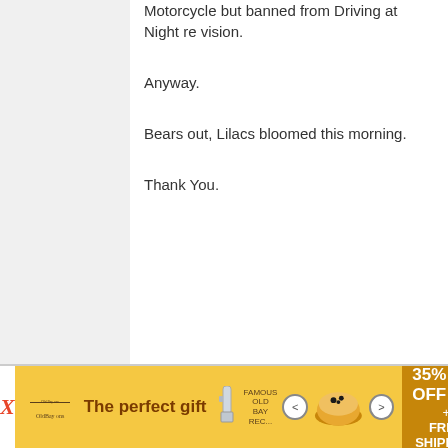Motorcycle but banned from Driving at Night re vision.
Anyway.
Bears out, Lilacs bloomed this morning.
Thank You.
[Figure (screenshot): Advertisement banner: 'The perfect gift' with food product bowl image, 35% OFF + FREE SHIPPING offer on yellow/gold background]